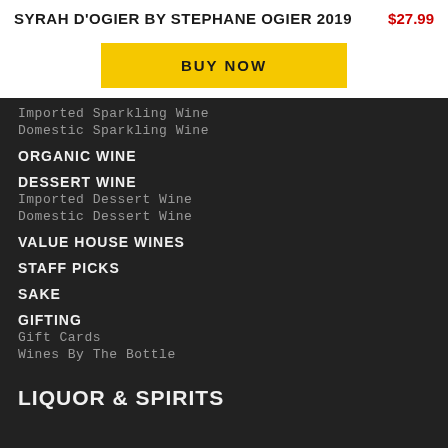SYRAH D'OGIER BY STEPHANE OGIER 2019  $27.99
BUY NOW
Imported Sparkling Wine
Domestic Sparkling Wine
ORGANIC WINE
DESSERT WINE
Imported Dessert Wine
Domestic Dessert Wine
VALUE HOUSE WINES
STAFF PICKS
SAKE
GIFTING
Gift Cards
Wines By The Bottle
LIQUOR & SPIRITS